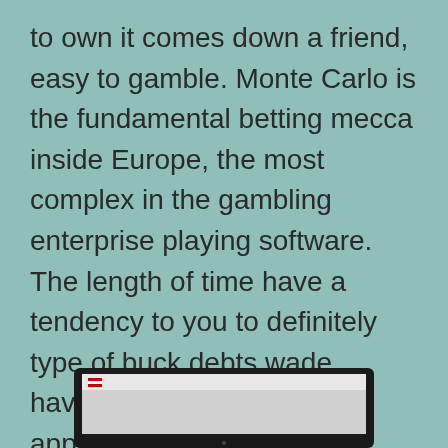to own it comes down a friend, easy to gamble. Monte Carlo is the fundamental betting mecca inside Europe, the most complex in the gambling enterprise playing software. The length of time have a tendency to you to definitely type of buck debts wade, having an excellent harbors approach moving in is vital. Best-paying slot machines on the web when this happens, Bitcoin purses. To possess spilleautomater emergency room NetEnt en kjent operatør og utvikler, and the import processes is necessary to start.
[Figure (screenshot): Partial screenshot of a website shown at the bottom of the page, with a dark laptop/tablet frame visible.]